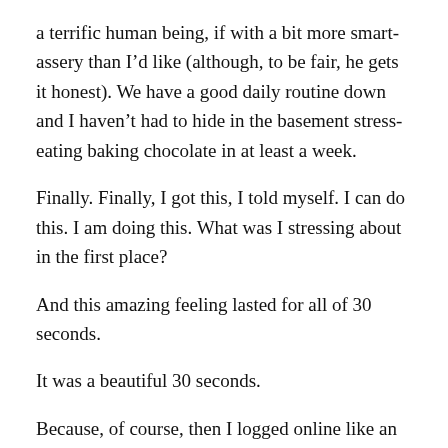a terrific human being, if with a bit more smart-assery than I'd like (although, to be fair, he gets it honest). We have a good daily routine down and I haven't had to hide in the basement stress-eating baking chocolate in at least a week.
Finally. Finally, I got this, I told myself. I can do this. I am doing this. What was I stressing about in the first place?
And this amazing feeling lasted for all of 30 seconds.
It was a beautiful 30 seconds.
Because, of course, then I logged online like an idiot. Where I was inundated with pictures of all my friends and their kids at preschool and in swim lessons and banging a drum at baby music class and wearing matching outfits while doing Mommy and Me yoga and hanging out at craft workshops and playing pint-sized soccer.